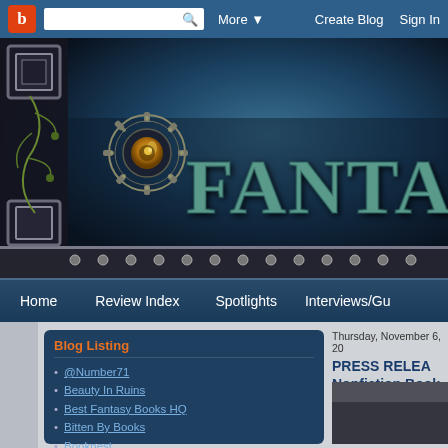Blogger navigation bar with icon, search, More, Create Blog, Sign In
[Figure (illustration): Fantasy blog banner with dark blue atmospheric background, ornate corner pieces, golden eye/gear emblem, and large teal fantasy-style text reading FANTAS...]
Home | Review Index | Spotlights | Interviews/Gu...
Blog Listing
@Number71
Beauty In Ruins
Best Fantasy Books HQ
Bitten By Books
Booknest
Bookworm Blues
Charlotte's Library
Thursday, November 6, 20...
PRESS RELEA... Nonfiction Book... SF Anthology!